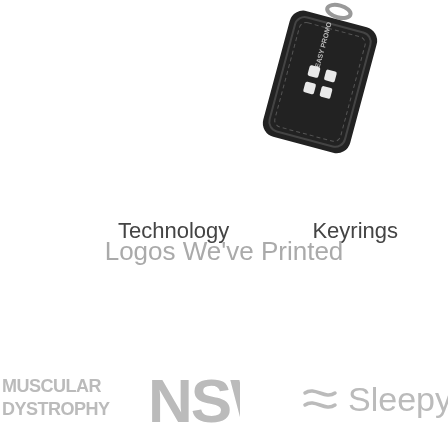[Figure (photo): Black leather keyring tag with Easy Promo logo and snowflake emblem, rotated slightly, partially cropped at top right of page]
Technology
Keyrings
Logos We've Printed
[Figure (logo): Muscular Dystrophy NSW logo in grey]
[Figure (logo): Sleepy's logo with wavy lines icon in grey]